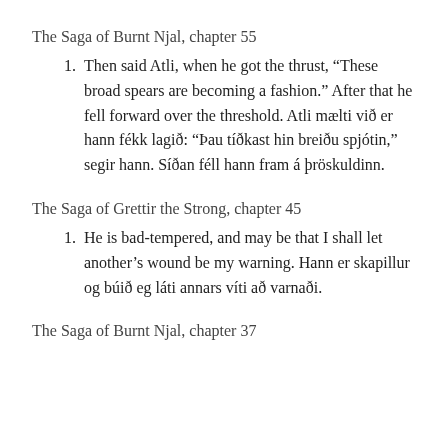The Saga of Burnt Njal, chapter 55
Then said Atli, when he got the thrust, “These broad spears are becoming a fashion.” After that he fell forward over the threshold. Atli mælti við er hann fékk lagið: “Þau tíðkast hin breiðu spjótin,” segir hann. Síðan féll hann fram á þröskuldinn.
The Saga of Grettir the Strong, chapter 45
He is bad-tempered, and may be that I shall let another’s wound be my warning. Hann er skapillur og búið eg láti annars víti að varnaði.
The Saga of Burnt Njal, chapter 37